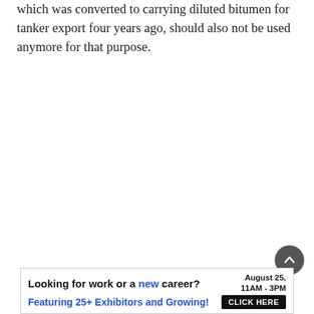which was converted to carrying diluted bitumen for tanker export four years ago, should also not be used anymore for that purpose.
Subscribe Today!
Get Our Latest Articles in Your Inbox
Email   Required
[Figure (screenshot): Email input field (text box) for subscription form]
[Figure (screenshot): SIGN UP button in orange]
[Figure (screenshot): Back to top circular button with upward chevron]
[Figure (infographic): Advertisement banner: Looking for work or a new career? August 25, 11AM - 3PM. Featuring 25+ Exhibitors and Growing! CLICK HERE]